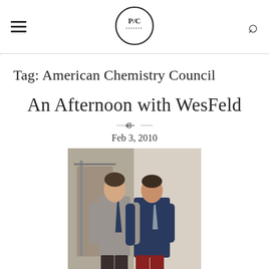P/C logo navigation header
Tag: American Chemistry Council
An Afternoon with WesFeld
Feb 3, 2010
[Figure (photo): Two young men standing together posing for a photo. The man on the left wears a grey patterned shirt with a navy tie and dark trousers. The man on the right wears a navy blazer with a tie and red trousers. Background shows fabric/clothing rack area.]